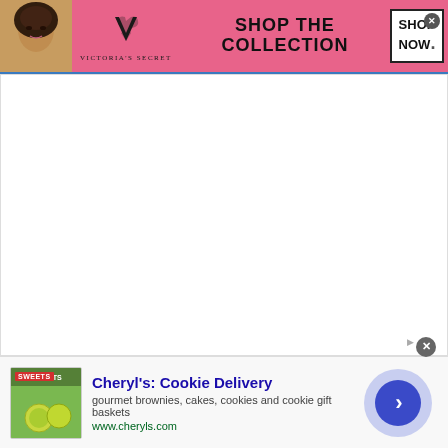[Figure (advertisement): Victoria's Secret banner ad with pink background, model photo on left, VS logo in center, 'SHOP THE COLLECTION' text, and 'SHOP NOW' call-to-action button with close X]
[Figure (other): Large white empty content area below the top banner ad]
[Figure (advertisement): Cheryl's Cookie Delivery bottom ad with cookie/lime image thumbnail, title 'Cheryl's: Cookie Delivery', description 'gourmet brownies, cakes, cookies and cookie gift baskets', URL 'www.cheryls.com', and blue arrow navigation circle]